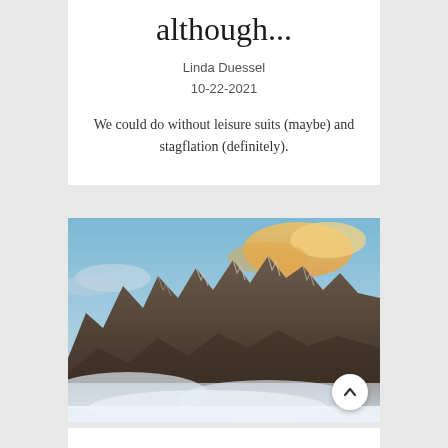although...
Linda Duessel
10-22-2021
We could do without leisure suits (maybe) and stagflation (definitely).
[Figure (photo): Dramatic mountain peaks rising above clouds, photographed at sunset or dusk with warm golden light catching the tops of jagged rocky peaks]